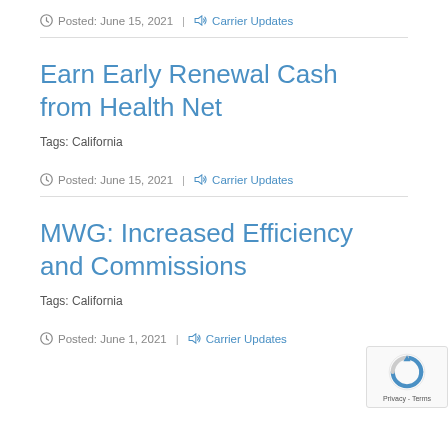Posted: June 15, 2021 | Carrier Updates
Earn Early Renewal Cash from Health Net
Tags: California
Posted: June 15, 2021 | Carrier Updates
MWG: Increased Efficiency and Commissions
Tags: California
Posted: June 1, 2021 | Carrier Updates